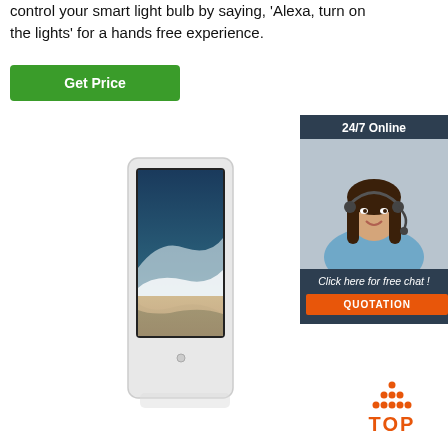control your smart light bulb by saying, 'Alexa, turn on the lights' for a hands free experience.
Get Price
[Figure (illustration): 24/7 Online customer support widget with a woman wearing a headset, and a 'Click here for free chat! QUOTATION' button.]
[Figure (photo): A white tall outdoor digital signage kiosk displaying a beach wave image on its screen.]
[Figure (logo): TOP logo in orange with dot pattern above the text.]